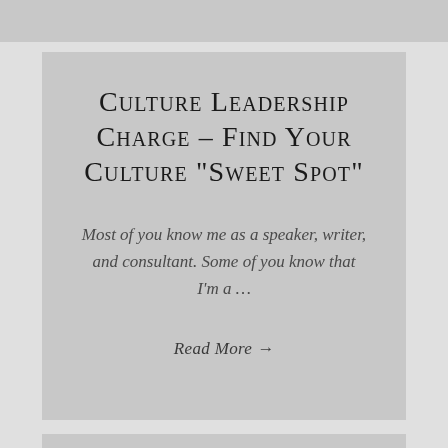Culture Leadership Charge – Find Your Culture "Sweet Spot"
Most of you know me as a speaker, writer, and consultant. Some of you know that I'm a ...
Read More →